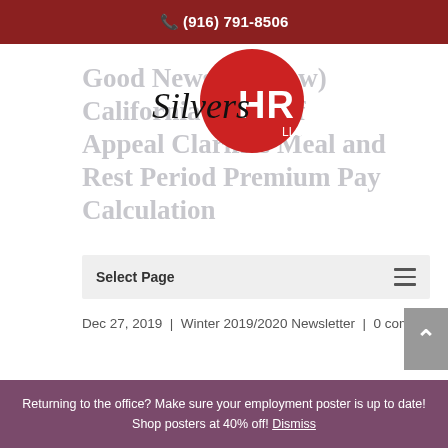☎ (916) 791-8506
Good News (for now) California Court of Appeal Clarifies Meal and Rest Period Premium Pay Calculation
[Figure (logo): SilversHR LLC logo — stylized text 'Silvers' in italic with 'HR' in white on a red circle, and 'LLC' underneath]
Select Page
Dec 27, 2019  |  Winter 2019/2020 Newsletter  |  0 comments
By Jennifer L. Lippi, SPHR, PHRca
On October 9, 2019, the California Court of Appeal in
Returning to the office? Make sure your employment poster is up to date! Shop posters at 40% off! Dismiss